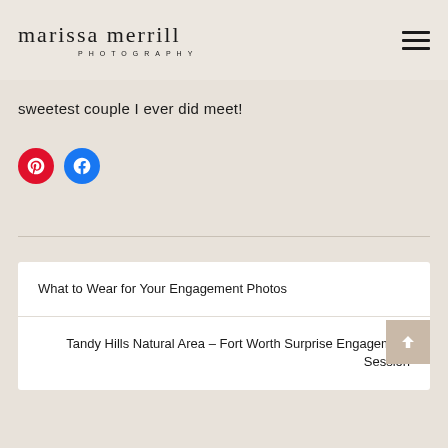marissa merrill PHOTOGRAPHY
sweetest couple I ever did meet!
[Figure (logo): Pinterest red circle icon and Facebook blue circle icon side by side]
What to Wear for Your Engagement Photos
Tandy Hills Natural Area – Fort Worth Surprise Engagement Session